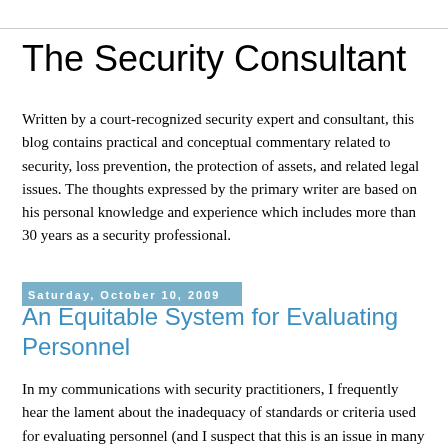The Security Consultant
Written by a court-recognized security expert and consultant, this blog contains practical and conceptual commentary related to security, loss prevention, the protection of assets, and related legal issues. The thoughts expressed by the primary writer are based on his personal knowledge and experience which includes more than 30 years as a security professional.
Saturday, October 10, 2009
An Equitable System for Evaluating Personnel
In my communications with security practitioners, I frequently hear the lament about the inadequacy of standards or criteria used for evaluating personnel (and I suspect that this is an issue in many other industries as well). So in an attempt to